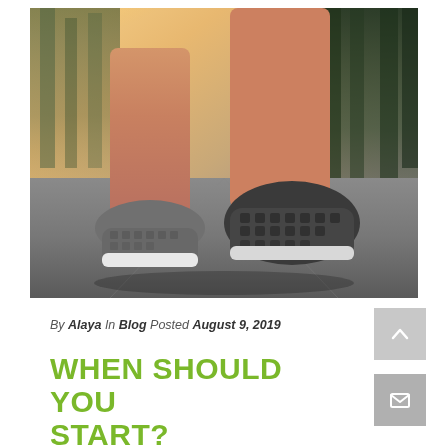[Figure (photo): Close-up photo of a person's legs from behind, wearing grey athletic sneakers, walking on an asphalt road. Background shows trees with warm sunlight on the left side.]
By Alaya In Blog Posted August 9, 2019
WHEN SHOULD YOU START?